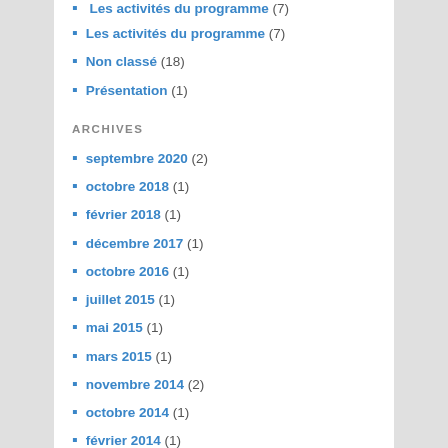Les activités du programme (7)
Non classé (18)
Présentation (1)
ARCHIVES
septembre 2020 (2)
octobre 2018 (1)
février 2018 (1)
décembre 2017 (1)
octobre 2016 (1)
juillet 2015 (1)
mai 2015 (1)
mars 2015 (1)
novembre 2014 (2)
octobre 2014 (1)
février 2014 (1)
janvier 2013 (1)
mars 2012 (1)
novembre 2011 (3)
juin 2011 (1)